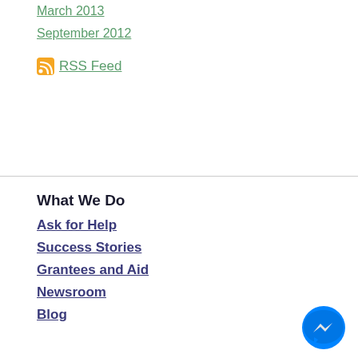March 2013
September 2012
RSS Feed
What We Do
Ask for Help
Success Stories
Grantees and Aid
Newsroom
Blog
Who We Are
About Fur Kids Foundation
Board of Directors
Morgan's Story
Contact Us